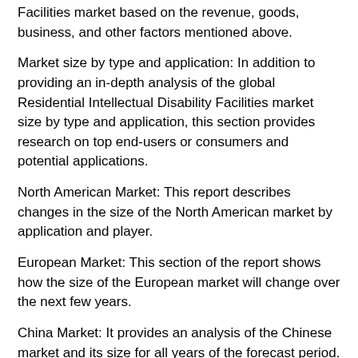Facilities market based on the revenue, goods, business, and other factors mentioned above.
Market size by type and application: In addition to providing an in-depth analysis of the global Residential Intellectual Disability Facilities market size by type and application, this section provides research on top end-users or consumers and potential applications.
North American Market: This report describes changes in the size of the North American market by application and player.
European Market: This section of the report shows how the size of the European market will change over the next few years.
China Market: It provides an analysis of the Chinese market and its size for all years of the forecast period.